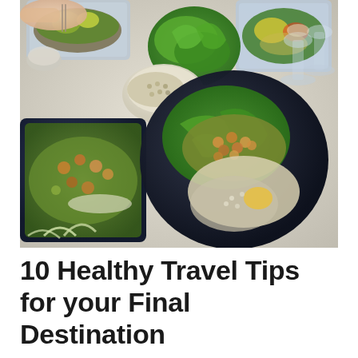[Figure (photo): Overhead view of a table with healthy food: a dark round plate with lettuce wraps and grain salad, a dark blue rectangular container with mixed vegetable salad, a white bowl with seeds or grains, a clear plastic container with salad greens in the top left, another container with colorful salad in the top right, a head of green lettuce in the center-top, two wine glasses on the right, and a hand holding utensils on the upper left.]
10 Healthy Travel Tips for your Final Destination